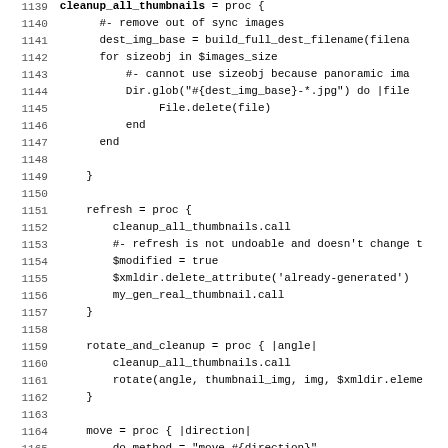[Figure (screenshot): Source code listing in monospace font with line numbers 1139-1171, showing Ruby code for thumbnail cleanup, refresh, rotate_and_cleanup, and move procedures.]